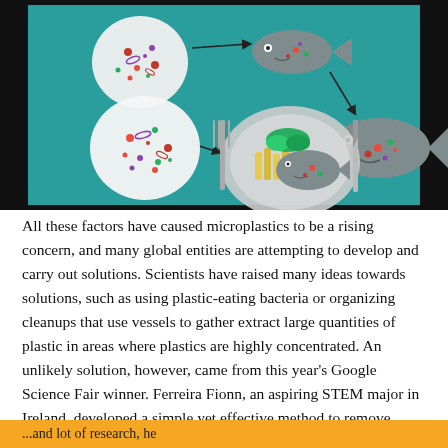[Figure (illustration): Infographic illustration showing microplastics food chain: petri dishes with microplastic particles, arrows pointing to fish, and a dinner plate with fish, french fries, and greens, on a teal background. Shows how microplastics move through the food chain from plankton to fish to humans.]
All these factors have caused microplastics to be a rising concern, and many global entities are attempting to develop and carry out solutions. Scientists have raised many ideas towards solutions, such as using plastic-eating bacteria or organizing cleanups that use vessels to gather extract large quantities of plastic in areas where plastics are highly concentrated. An unlikely solution, however, came from this year's Google Science Fair winner. Ferreira Fionn, an aspiring STEM major in Ireland, developed a simple yet effective method to remove microplastics. After noticing the plastics scattered all over the beaches, Ferreira decided to take action and started this
...and lot of research, he